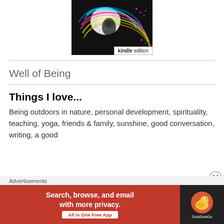[Figure (illustration): Colorful swirling light art book cover with multicolored streaks on dark background, with a Kindle edition badge in the bottom right corner.]
Well of Being
Things I love...
Being outdoors in nature, personal development, spirituality, teaching, yoga, friends & family, sunshine, good conversation, writing, a good
Advertisements
[Figure (screenshot): DuckDuckGo advertisement banner: red section with text 'Search, browse, and email with more privacy. All in One Free App' and dark section with DuckDuckGo logo.]